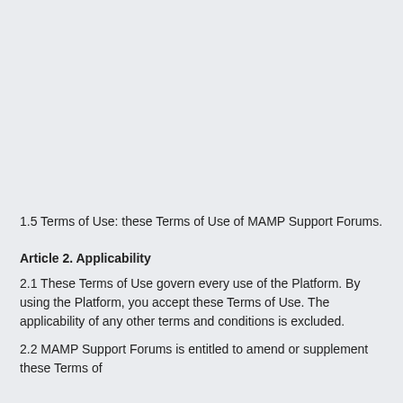1.5 Terms of Use: these Terms of Use of MAMP Support Forums.
Article 2. Applicability
2.1 These Terms of Use govern every use of the Platform. By using the Platform, you accept these Terms of Use. The applicability of any other terms and conditions is excluded.
2.2 MAMP Support Forums is entitled to amend or supplement these Terms of